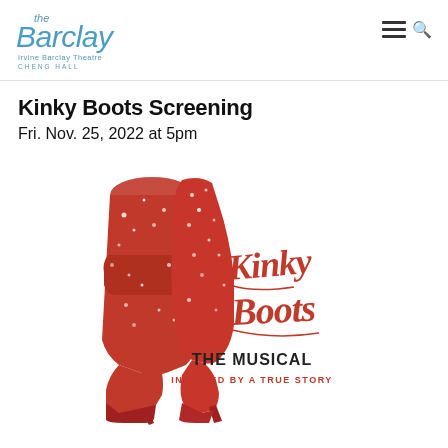[Figure (logo): The Barclay - Irvine Barclay Theatre Cheng Hall logo with blue stylized text]
Kinky Boots Screening
Fri. Nov. 25, 2022 at 5pm
[Figure (photo): Kinky Boots The Musical promotional poster showing red glittery high-heeled boots forming the letter K, with the Kinky Boots cursive logo and text THE MUSICAL INSPIRED BY A TRUE STORY]